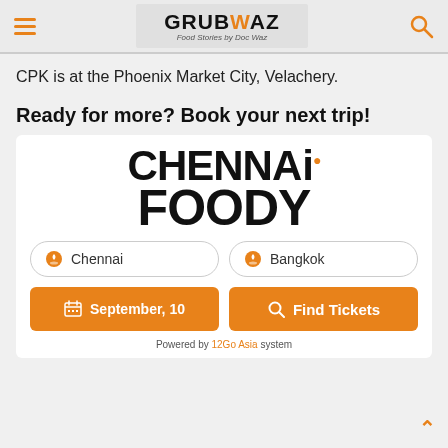GRUBWAZ - Food Stories by Doc Waz
CPK is at the Phoenix Market City, Velachery.
Ready for more? Book your next trip!
[Figure (logo): Chennai Foody travel booking widget with logo, Chennai to Bangkok route, September 10 date, and Find Tickets button. Powered by 12Go Asia system.]